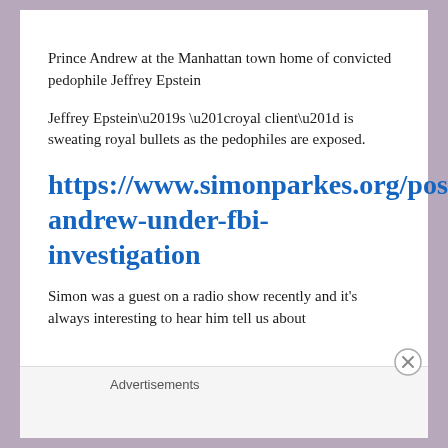Prince Andrew at the Manhattan town home of convicted pedophile Jeffrey Epstein
Jeffrey Epstein’s “royal client” is sweating royal bullets as the pedophiles are exposed.
https://www.simonparkes.org/post/prince-andrew-under-fbi-investigation
Simon was a guest on a radio show recently and it’s always interesting to hear him tell us about
Advertisements